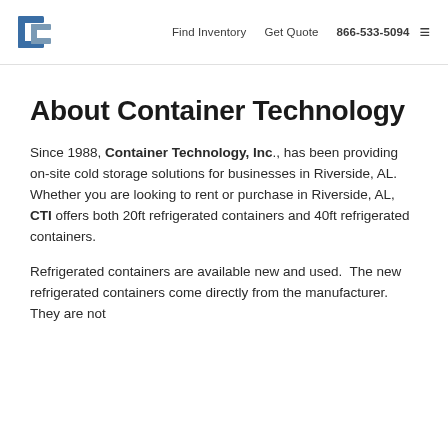Find Inventory  Get Quote  866-533-5094
About Container Technology
Since 1988, Container Technology, Inc., has been providing on-site cold storage solutions for businesses in Riverside, AL.  Whether you are looking to rent or purchase in Riverside, AL, CTI offers both 20ft refrigerated containers and 40ft refrigerated containers.
Refrigerated containers are available new and used.  The new refrigerated containers come directly from the manufacturer.  They are not